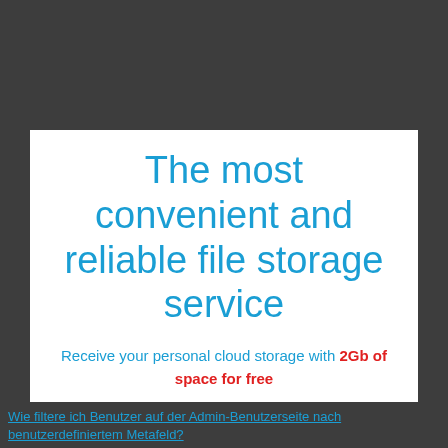The most convenient and reliable file storage service
Receive your personal cloud storage with 2Gb of space for free
Wie filtere ich Benutzer auf der Admin-Benutzerseite nach benutzerdefiniertem Metafeld?